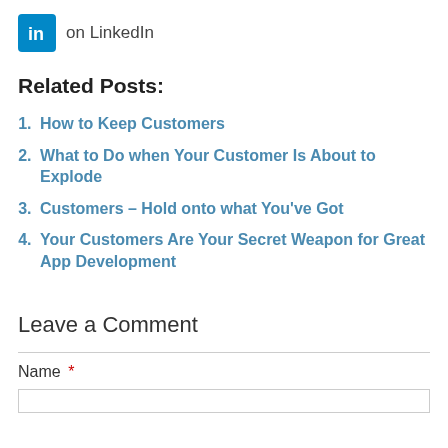[Figure (logo): LinkedIn logo icon (blue square with 'in' in white) followed by text 'on LinkedIn']
Related Posts:
How to Keep Customers
What to Do when Your Customer Is About to Explode
Customers – Hold onto what You've Got
Your Customers Are Your Secret Weapon for Great App Development
Leave a Comment
Name *